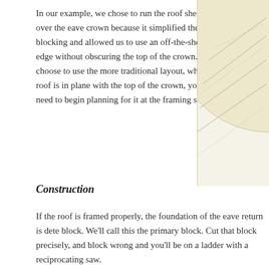In our example, we chose to run the roof sheathing over the eave crown because it simplified the required blocking and allowed us to use an off-the-shelf drip edge without obscuring the top of the crown. If you choose to use the more traditional layout, where the roof is in plane with the top of the crown, you will need to begin planning for it at the framing stage.
[Figure (illustration): Partial circular architectural diagram/illustration showing a light cream/beige colored cross-section or plan view of a roof corner or eave detail, visible in the upper right portion of the page.]
Construction
If the roof is framed properly, the foundation of the eave return is dete block. We'll call this the primary block. Cut that block precisely, and block wrong and you'll be on a ladder with a reciprocating saw.